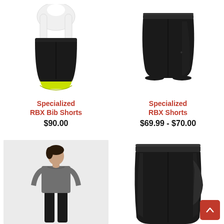[Figure (photo): Specialized RBX Bib Shorts — white bib top with black shorts and yellow-green band at hem]
Specialized
RBX Bib Shorts
$90.00
[Figure (photo): Specialized RBX Shorts — black cycling shorts with subtle logo on thigh]
Specialized
RBX Shorts
$69.99 - $70.00
[Figure (photo): Person wearing a grey long-sleeve base layer top with black pants, standing on light grey background]
[Figure (photo): Black cycling tights/shorts, high waist, with padding panel visible on side]